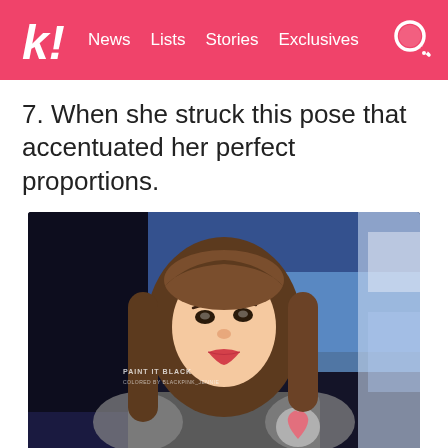k! News  Lists  Stories  Exclusives
7. When she struck this pose that accentuated her perfect proportions.
[Figure (photo): A young woman with long brown hair wearing a grey outfit with red heart patches, looking sideways on a dark stage. Watermark reads: PAINT IT BLACK / COLORED BY BLACKPINK_JENNIE]